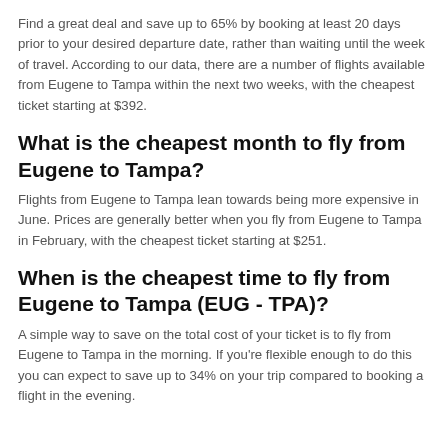Find a great deal and save up to 65% by booking at least 20 days prior to your desired departure date, rather than waiting until the week of travel. According to our data, there are a number of flights available from Eugene to Tampa within the next two weeks, with the cheapest ticket starting at $392.
What is the cheapest month to fly from Eugene to Tampa?
Flights from Eugene to Tampa lean towards being more expensive in June. Prices are generally better when you fly from Eugene to Tampa in February, with the cheapest ticket starting at $251.
When is the cheapest time to fly from Eugene to Tampa (EUG - TPA)?
A simple way to save on the total cost of your ticket is to fly from Eugene to Tampa in the morning. If you're flexible enough to do this you can expect to save up to 34% on your trip compared to booking a flight in the evening.